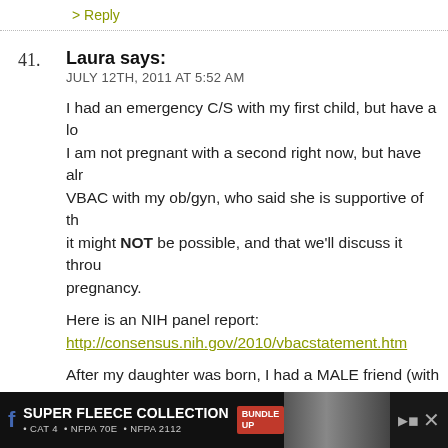> Reply
41. Laura says: JULY 12TH, 2011 AT 5:52 AM
I had an emergency C/S with my first child, but have a lo... I am not pregnant with a second right now, but have alr... VBAC with my ob/gyn, who said she is supportive of th... it might NOT be possible, and that we'll discuss it throu... pregnancy.
Here is an NIH panel report:
http://consensus.nih.gov/2010/vbacstatement.htm
After my daughter was born, I had a MALE friend (with... longer friends, as his and his wife's true colors came out... tell me that I didn't give birth and that I would retain th... forever. I could have punched him. I was a few weeks po... child who'd been born 8 weeks early and spent 3 weeks... Don't tell me that I didn't give birth.
[Figure (photo): Advertisement banner for Super Fleece Collection at the bottom of the page. Dark background with text: SUPER FLEECE COLLECTION, CAT 4, NFPA 70E, NFPA 2112, BUNDLE UP badge. Photo of people in fleece jackets.]